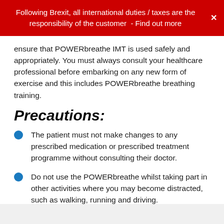Following Brexit, all international duties / taxes are the responsibility of the customer  - Find out more
ensure that POWERbreathe IMT is used safely and appropriately. You must always consult your healthcare professional before embarking on any new form of exercise and this includes POWERbreathe breathing training.
Precautions:
The patient must not make changes to any prescribed medication or prescribed treatment programme without consulting their doctor.
Do not use the POWERbreathe whilst taking part in other activities where you may become distracted, such as walking, running and driving.